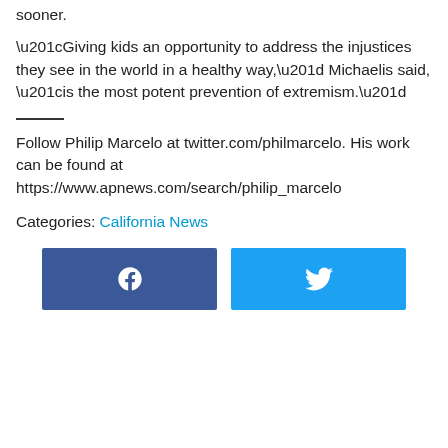sooner.
“Giving kids an opportunity to address the injustices they see in the world in a healthy way,” Michaelis said, “is the most potent prevention of extremism.”
Follow Philip Marcelo at twitter.com/philmarcelo. His work can be found at https://www.apnews.com/search/philip_marcelo
Categories: California News
[Figure (other): Social media share buttons for Facebook and Twitter]